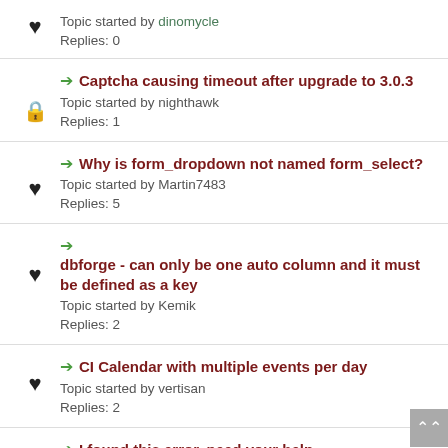Topic started by dinomycle
Replies: 0
➡ Captcha causing timeout after upgrade to 3.0.3
Topic started by nighthawk
Replies: 1
➡ Why is form_dropdown not named form_select?
Topic started by Martin7483
Replies: 5
➡ dbforge - can only be one auto column and it must be defined as a key
Topic started by Kemik
Replies: 2
➡ CI Calendar with multiple events per day
Topic started by vertisan
Replies: 2
➡ I found this error, need your help